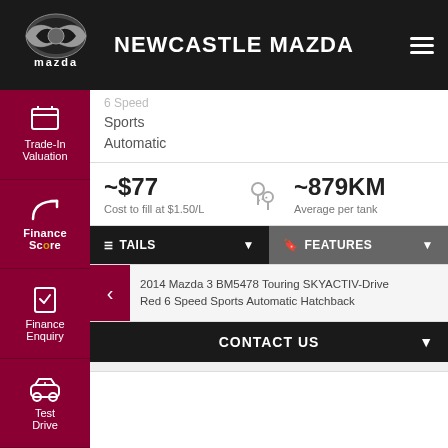[Figure (screenshot): Newcastle Mazda dealership website screenshot showing navigation header with Mazda logo, sidebar with Trade-In Valuation, Finance Score, Finance Enquiry, and Test Drive options, fuel cost info (~$77 cost to fill, ~879KM average per tank), details and features buttons, vehicle description for 2014 Mazda 3 BM5478 Touring SKYACTIV-Drive Red 6 Speed Sports Automatic Hatchback, Contact Us bar, and Finance/Deposit buttons.]